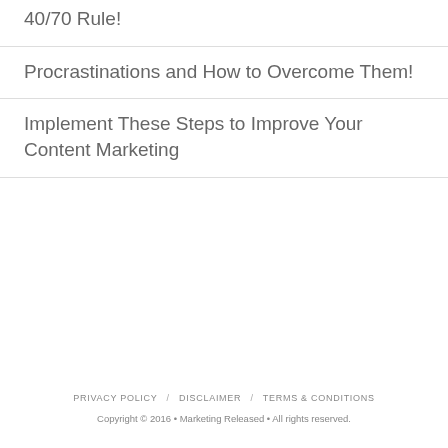40/70 Rule!
Procrastinations and How to Overcome Them!
Implement These Steps to Improve Your Content Marketing
PRIVACY POLICY / DISCLAIMER / TERMS & CONDITIONS
Copyright © 2016 • Marketing Released • All rights reserved.